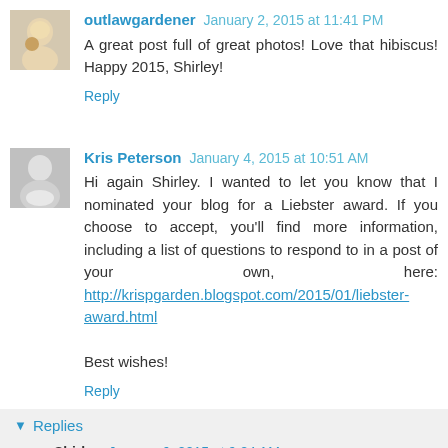[Figure (photo): Small avatar photo of outlawgardener, baby with toy]
outlawgardener January 2, 2015 at 11:41 PM
A great post full of great photos! Love that hibiscus! Happy 2015, Shirley!
Reply
[Figure (photo): Small black and white avatar photo of Kris Peterson, child in dress]
Kris Peterson January 4, 2015 at 10:51 AM
Hi again Shirley. I wanted to let you know that I nominated your blog for a Liebster award. If you choose to accept, you'll find more information, including a list of questions to respond to in a post of your own, here: http://krispgarden.blogspot.com/2015/01/liebster-award.html

Best wishes!
Reply
Replies
Shirley January 6, 2015 at 9:24 AM
Thank you Kris. I'll check it out.